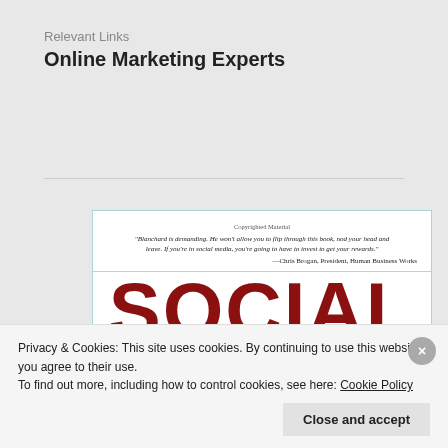Relevant Links
Online Marketing Experts
[Figure (screenshot): Screenshot of a book preview showing 'SOCIAL MEDIA' in large red text on white background, with a quote from Chris Brogan at the top and 'Copyrighted Material' label.]
Privacy & Cookies: This site uses cookies. By continuing to use this website, you agree to their use.
To find out more, including how to control cookies, see here: Cookie Policy
Close and accept